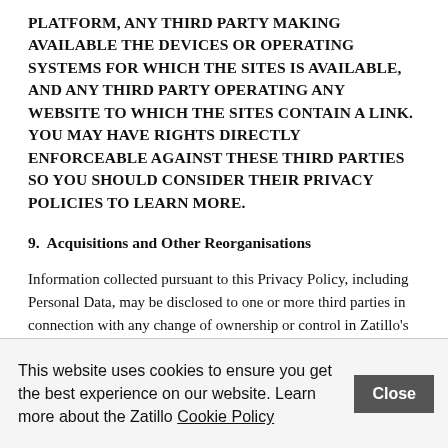PLATFORM, ANY THIRD PARTY MAKING AVAILABLE THE DEVICES OR OPERATING SYSTEMS FOR WHICH THE SITES IS AVAILABLE, AND ANY THIRD PARTY OPERATING ANY WEBSITE TO WHICH THE SITES CONTAIN A LINK. YOU MAY HAVE RIGHTS DIRECTLY ENFORCEABLE AGAINST THESE THIRD PARTIES SO YOU SHOULD CONSIDER THEIR PRIVACY POLICIES TO LEARN MORE.
9.  Acquisitions and Other Reorganisations
Information collected pursuant to this Privacy Policy, including Personal Data, may be disclosed to one or more third parties in connection with any change of ownership or control in Zatillo's business (whether by merger, sale, or otherwise), or any other reorganisation or joint venture, or assignment, transfer or other disposition of all or any portion of our business, assets or stock (including in connection with any bankruptcy or similar proceeding), and any such information may be used by such
This website uses cookies to ensure you get the best experience on our website. Learn more about the Zatillo Cookie Policy